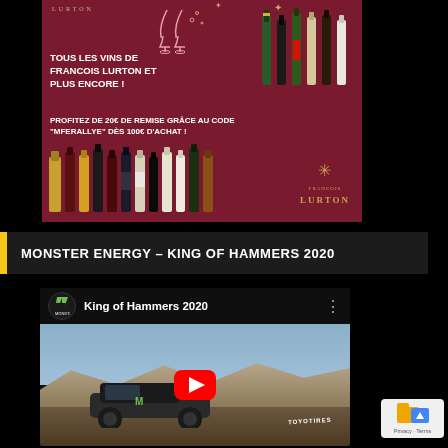[Figure (photo): François Lurton wine advertisement with dark red background showing wine bottles, glasses. Text: TOUS LES VINS DE FRANCOIS LURTON ET PLUS ENCORE! PROFITEZ DE 20€ DE REMISE GRÂCE AU CODE 'MFERALLYE' dès 100€ d'achat!]
MONSTER ENERGY – KING OF HAMMERS 2020
[Figure (screenshot): YouTube video embed thumbnail for King of Hammers 2020 by Monster Energy. Shows an off-road race truck in desert terrain with a red YouTube play button in the center.]